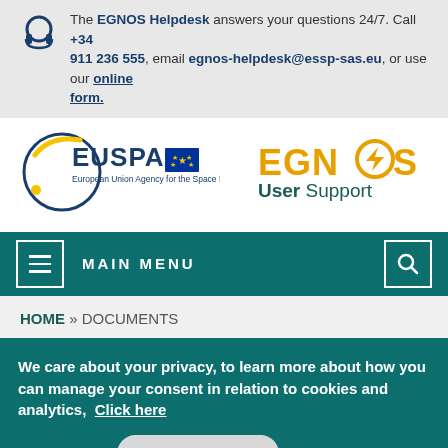The EGNOS Helpdesk answers your questions 24/7. Call +34 911 236 555, email egnos-helpdesk@essp-sas.eu, or use our online form.
[Figure (logo): EUSPA - European Union Agency for the Space Programme logo with circular blue and yellow design]
[Figure (logo): EGNOS User Support logo with orange/yellow EGNOS text and teal User Support text]
MAIN MENU
HOME » DOCUMENTS
We care about your privacy, to learn more about how you can manage your consent in relation to cookies and analytics,  Click here
OK, I agree   Decline cookies